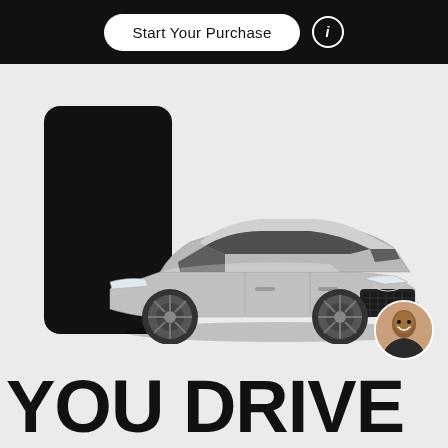Start Your Purchase
[Figure (illustration): An Infiniti SUV (QX55) in silver/gray emerging from a black smartphone screen against a light gray background. The car is shown from a front three-quarter angle. This is a promotional automotive advertisement image. Below the car and phone is the large bold text 'YOU DRIVE'. A circular avatar portrait of a smiling woman appears in the lower right corner.]
YOU DRIVE